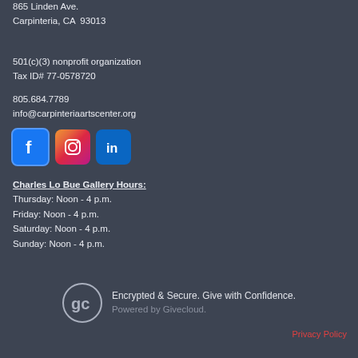865 Linden Ave.
Carpinteria, CA  93013
501(c)(3) nonprofit organization
Tax ID# 77-0578720
805.684.7789
info@carpinteriaartscenter.org
[Figure (logo): Social media icons: Facebook, Instagram, LinkedIn]
Charles Lo Bue Gallery Hours:
Thursday: Noon - 4 p.m.
Friday: Noon - 4 p.m.
Saturday: Noon - 4 p.m.
Sunday: Noon - 4 p.m.
[Figure (logo): Givecloud logo with tagline: Encrypted & Secure. Give with Confidence. Powered by Givecloud.]
Privacy Policy